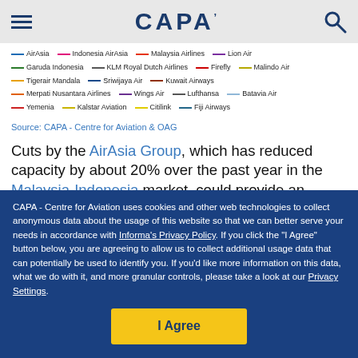CAPA
AirAsia — Indonesia AirAsia — Malaysia Airlines — Lion Air — Garuda Indonesia — KLM Royal Dutch Airlines — Firefly — Malindo Air — Tigerair Mandala — Sriwijaya Air — Kuwait Airways — Merpati Nusantara Airlines — Wings Air — Lufthansa — Batavia Air — Yemenia — Kalstar Aviation — Citilink — Fiji Airways
Source: CAPA - Centre for Aviation & OAG
Cuts by the AirAsia Group, which has reduced capacity by about 20% over the past year in the Malaysia-Indonesia market, could provide an opening for further Lion Group expansion on several trunk routes. Kuala Lumpur Bandung
CAPA - Centre for Aviation uses cookies and other web technologies to collect anonymous data about the usage of this website so that we can better serve your needs in accordance with Informa's Privacy Policy. If you click the "I Agree" button below, you are agreeing to allow us to collect additional usage data that can potentially be used to identify you. If you'd like more information on this data, what we do with it, and more granular controls, please take a look at our Privacy Settings.